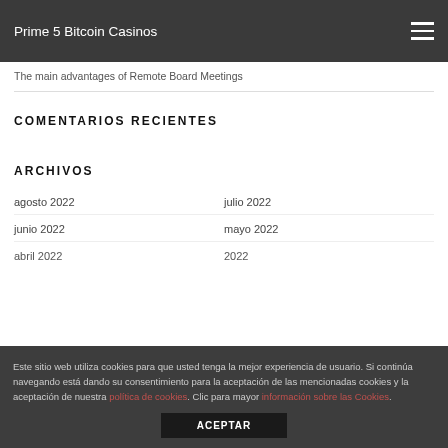Prime 5 Bitcoin Casinos
The main advantages of Remote Board Meetings
COMENTARIOS RECIENTES
ARCHIVOS
agosto 2022
julio 2022
junio 2022
mayo 2022
Este sitio web utiliza cookies para que usted tenga la mejor experiencia de usuario. Si continúa navegando está dando su consentimiento para la aceptación de las mencionadas cookies y la aceptación de nuestra política de cookies. Clic para mayor información sobre las Cookies.
ACEPTAR